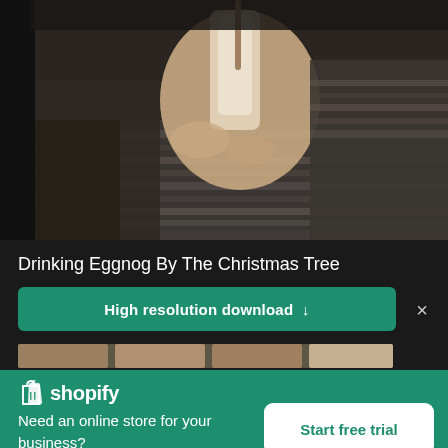[Figure (photo): Person's hands holding a glass of eggnog/white drink, wrapped in a cozy knitted blanket, dark background]
Drinking Eggnog By The Christmas Tree
High resolution download ↓
[Figure (photo): Thumbnail strip of related images]
shopify
Need an online store for your business?
Start free trial